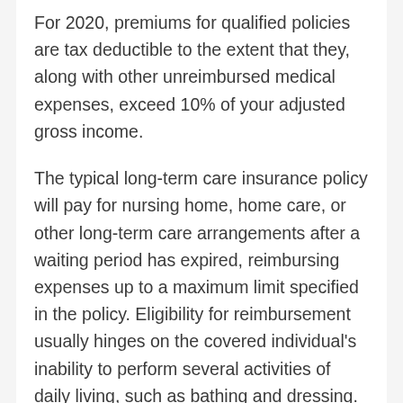For 2020, premiums for qualified policies are tax deductible to the extent that they, along with other unreimbursed medical expenses, exceed 10% of your adjusted gross income.
The typical long-term care insurance policy will pay for nursing home, home care, or other long-term care arrangements after a waiting period has expired, reimbursing expenses up to a maximum limit specified in the policy. Eligibility for reimbursement usually hinges on the covered individual's inability to perform several activities of daily living, such as bathing and dressing.
Premiums are eligible for deduction and...